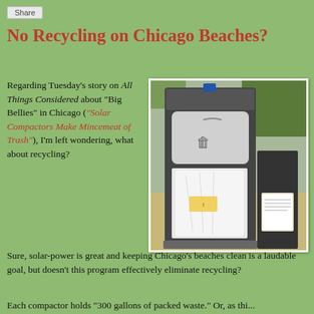Share
No Recycling on Chicago Beaches?
Regarding Tuesday's story on All Things Considered about "Big Bellies" in Chicago ("Solar Compactors Make Mincemeat of Trash"), I'm left wondering, what about recycling?
[Figure (photo): A Big Belly solar-powered trash compactor with its door open, showing the compacted trash bag inside, set on a sandy beach or park area with trees in the background.]
Sure, solar-power is great and keeping Chicago's beaches clean is a laudable goal, but doesn't this program effectively eliminate recycling?
Each compactor holds "300 gallons of packed waste." Or, as this...